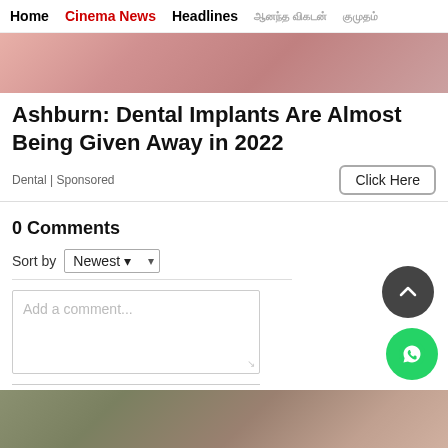Home | Cinema News | Headlines | [Tamil text] | [Tamil text]
[Figure (photo): Pink/red skin texture banner image]
Ashburn: Dental Implants Are Almost Being Given Away in 2022
Dental | Sponsored
Click Here
0 Comments
Sort by Newest
Add a comment...
Facebook Comments Plugin
[Figure (photo): Interior room photo at bottom of page]